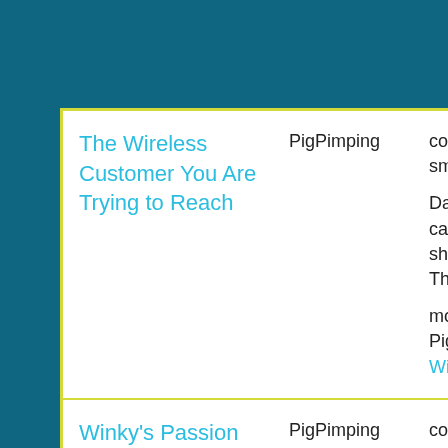| Title | Source | Description |
| --- | --- | --- |
| The Wireless Customer You Are Trying to Reach | PigPimping | complete
smut-alert

Damn you wireless carriers and your shitty connections. This one's for YO

more from PigPimping at Winkyverse |
| Winky's Passion | PigPimping | complete

During the Buffy Sketching Sessi |